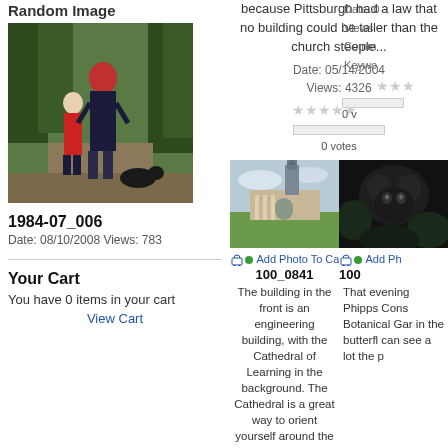Random Image
[Figure (photo): Two people standing on a forest trail, one wearing a red hat]
1984-07_006
Date: 08/10/2008 Views: 783
Your Cart
You have 0 items in your cart
View Cart
because Pittsburgh had a law that no building could be taller than the church steeple...
Date: 05/14/2004 Views: 4326
0 votes
[Figure (photo): Building with Cathedral of Learning in background, green lawn]
Add Photo To Cart
100_0841
The building in the front is an engineering building, with the Cathedral of Learning in the background. The Cathedral is a great way to orient yourself around the university!
[Figure (photo): Dark image of raccoon or animal, partially visible]
Add Ph
100
That evening Phipps Cons Botanical Gar in the butterfl can see a lot the p